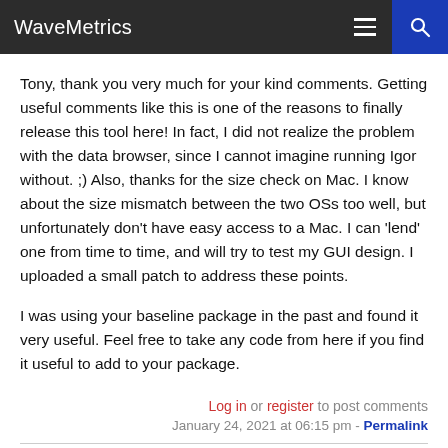WaveMetrics
Tony, thank you very much for your kind comments. Getting useful comments like this is one of the reasons to finally release this tool here! In fact, I did not realize the problem with the data browser, since I cannot imagine running Igor without. ;) Also, thanks for the size check on Mac. I know about the size mismatch between the two OSs too well, but unfortunately don't have easy access to a Mac. I can 'lend' one from time to time, and will try to test my GUI design. I uploaded a small patch to address these points.
I was using your baseline package in the past and found it very useful. Feel free to take any code from here if you find it useful to add to your package.
Log in or register to post comments
January 24, 2021 at 06:15 pm - Permalink